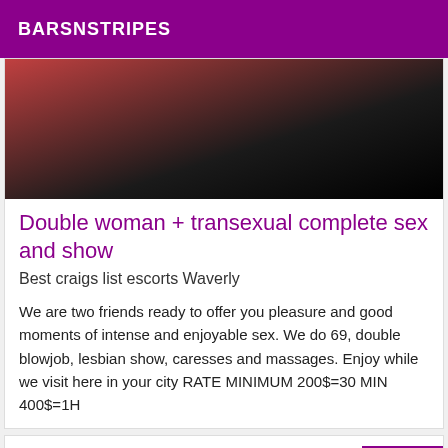BARSNSTRIPES
[Figure (photo): Dark photo showing a person, partially visible, with dark background and reddish tones on the left.]
Double woman + transexual complete sex and show
Best craigs list escorts Waverly
We are two friends ready to offer you pleasure and good moments of intense and enjoyable sex. We do 69, double blowjob, lesbian show, caresses and massages. Enjoy while we visit here in your city RATE MINIMUM 200$=30 MIN 400$=1H
Online